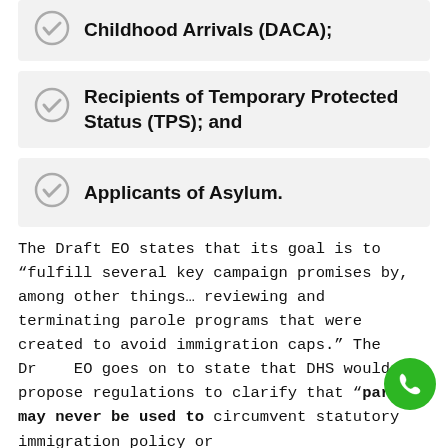Recipients of Deferred Action for Childhood Arrivals (DACA);
Recipients of Temporary Protected Status (TPS); and
Applicants of Asylum.
The Draft EO states that its goal is to “fulfill several key campaign promises by, among other things… reviewing and terminating parole programs that were created to avoid immigration caps.” The Draft EO goes on to state that DHS would propose regulations to clarify that “parole may never be used to circumvent statutory immigration policy or